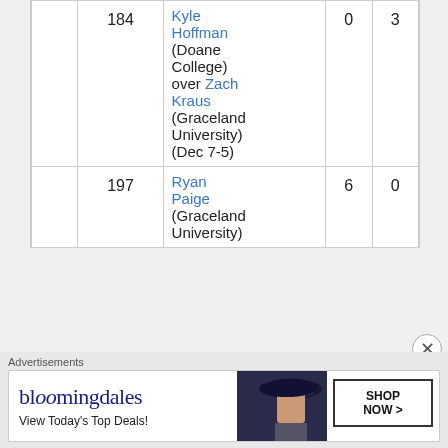|  | Weight | Result | W | L |
| --- | --- | --- | --- | --- |
|  | 184 | Kyle Hoffman (Doane College) over Zach Kraus (Graceland University) (Dec 7-5) | 0 | 3 |
|  | 197 | Ryan Paige (Graceland University) | 6 | 0 |
Advertisements
[Figure (screenshot): Bloomingdale's advertisement banner: logo on left reading 'bloomingdales', tagline 'View Today's Top Deals!', photo of woman in hat in center, 'SHOP NOW >' button on right]